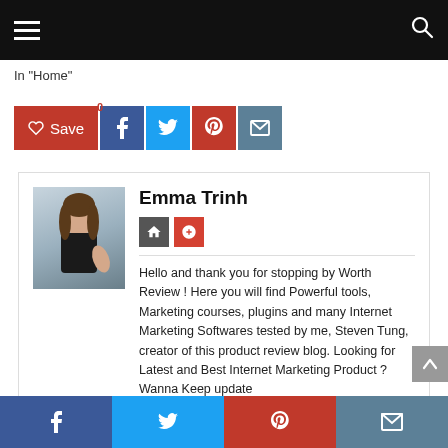Navigation bar with hamburger menu and search icon
In "Home"
[Figure (infographic): Social share buttons: Save (heart icon, red), Facebook (dark blue), Twitter (light blue), Pinterest (red), Email (steel blue)]
Emma Trinh
Hello and thank you for stopping by Worth Review ! Here you will find Powerful tools, Marketing courses, plugins and many Internet Marketing Softwares tested by me, Steven Tung, creator of this product review blog. Looking for Latest and Best Internet Marketing Product ? Wanna Keep update
Bottom social bar: Facebook, Twitter, Pinterest, Email